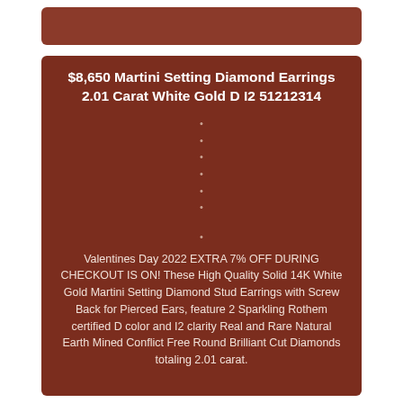$8,650 Martini Setting Diamond Earrings 2.01 Carat White Gold D I2 51212314
•
•
•
•
•
•
•
Valentines Day 2022 EXTRA 7% OFF DURING CHECKOUT IS ON! These High Quality Solid 14K White Gold Martini Setting Diamond Stud Earrings with Screw Back for Pierced Ears, feature 2 Sparkling Rothem certified D color and I2 clarity Real and Rare Natural Earth Mined Conflict Free Round Brilliant Cut Diamonds totaling 2.01 carat.